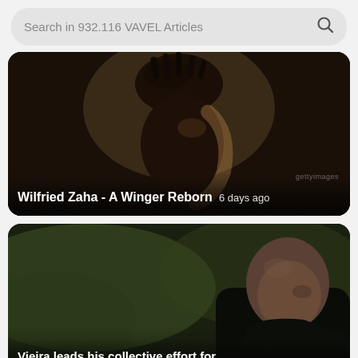Search in 932.116 VAVEL Articles
[Figure (photo): Dark silhouette portrait of Wilfried Zaha, a football player with dreadlocks, backlit profile shot. Getty Images watermark visible.]
Wilfried Zaha - A Winger Reborn  6 days ago
[Figure (photo): Dark photo of a bald man (Patrick Vieira) in a black jacket against a blurred green background, profile view.]
Vieira leads his collective effort for...